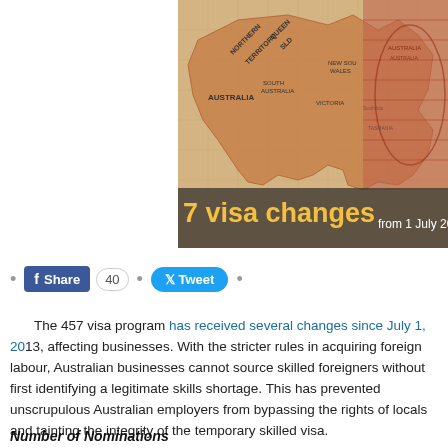[Figure (photo): Australian map with passport stamp overlay. Text overlay reads '457 visa changes from 1 July 2013' on a dark semi-transparent banner.]
Share  40  •  Tweet  •
The 457 visa program has received several changes since July 1, 2013, affecting businesses. With the stricter rules in acquiring foreign labour, Australian businesses cannot source skilled foreigners without first identifying a legitimate skills shortage. This has prevented unscrupulous Australian employers from bypassing the rights of locals and tainting the integrity of the temporary skilled visa.
Below are some of the legislative changes to the 457 visa to both spon...
Number of Nominations